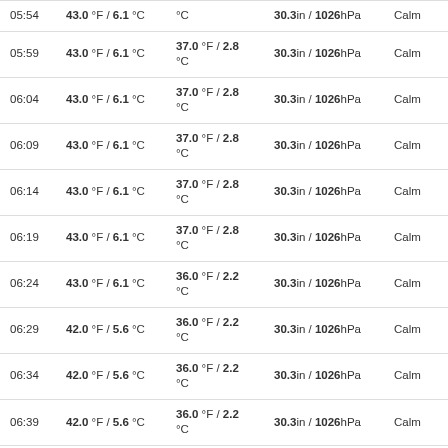| Time | Temp | Dew Point | Pressure | Wind |
| --- | --- | --- | --- | --- |
| 05:54 | 43.0 °F / 6.1 °C | °C | 30.3in / 1026hPa | Calm |
| 05:59 | 43.0 °F / 6.1 °C | 37.0 °F / 2.8 °C | 30.3in / 1026hPa | Calm |
| 06:04 | 43.0 °F / 6.1 °C | 37.0 °F / 2.8 °C | 30.3in / 1026hPa | Calm |
| 06:09 | 43.0 °F / 6.1 °C | 37.0 °F / 2.8 °C | 30.3in / 1026hPa | Calm |
| 06:14 | 43.0 °F / 6.1 °C | 37.0 °F / 2.8 °C | 30.3in / 1026hPa | Calm |
| 06:19 | 43.0 °F / 6.1 °C | 37.0 °F / 2.8 °C | 30.3in / 1026hPa | Calm |
| 06:24 | 43.0 °F / 6.1 °C | 36.0 °F / 2.2 °C | 30.3in / 1026hPa | Calm |
| 06:29 | 42.0 °F / 5.6 °C | 36.0 °F / 2.2 °C | 30.3in / 1026hPa | Calm |
| 06:34 | 42.0 °F / 5.6 °C | 36.0 °F / 2.2 °C | 30.3in / 1026hPa | Calm |
| 06:39 | 42.0 °F / 5.6 °C | 36.0 °F / 2.2 °C | 30.3in / 1026hPa | Calm |